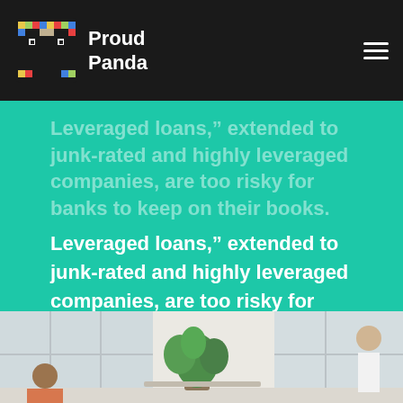Proud Panda
Leveraged loans," extended to junk-rated and highly leveraged companies, are too risky for banks to keep on their books. Leveraged loans," extended to junk-rated and highly leveraged companies, are too risky for banks to keep on their books.
[Figure (other): Three social media icons: Facebook, Twitter, YouTube — black circular buttons on teal background]
[Figure (photo): Office interior with bright windows, large green plant, people in background]